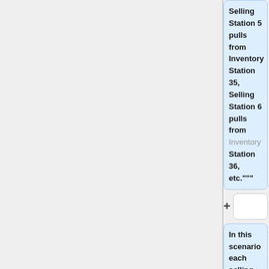Selling Station 5 pulls from Inventory Station 35, Selling Station 6 pulls from Inventory Station 36, etc."""
+
In this scenario each selling station is configured to pull inventory from its own inventory station, which in turn is stocked from the stockroom when inventory